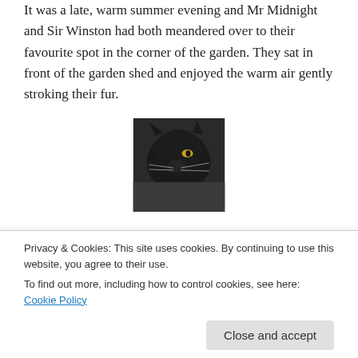It was a late, warm summer evening and Mr Midnight and Sir Winston had both meandered over to their favourite spot in the corner of the garden. They sat in front of the garden shed and enjoyed the warm air gently stroking their fur.
[Figure (photo): Close-up photo of a black cat looking to the side]
It´s not bad for this time of year is it, Sir Winston?
[Figure (photo): Photo of an orange and white cat looking forward]
Privacy & Cookies: This site uses cookies. By continuing to use this website, you agree to their use.
To find out more, including how to control cookies, see here: Cookie Policy
Close and accept